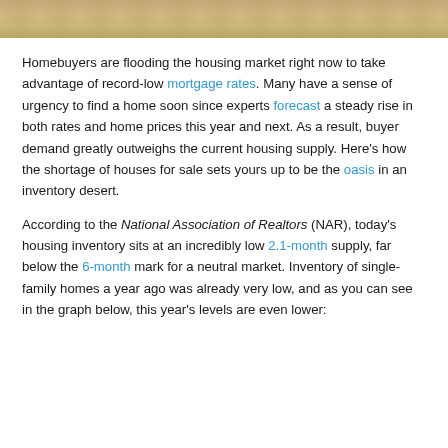[Figure (photo): Partial photo of sandy/desert scene at the top of the page, cropped at the bottom edge]
Homebuyers are flooding the housing market right now to take advantage of record-low mortgage rates. Many have a sense of urgency to find a home soon since experts forecast a steady rise in both rates and home prices this year and next. As a result, buyer demand greatly outweighs the current housing supply. Here's how the shortage of houses for sale sets yours up to be the oasis in an inventory desert.
According to the National Association of Realtors (NAR), today's housing inventory sits at an incredibly low 2.1-month supply, far below the 6-month mark for a neutral market. Inventory of single-family homes a year ago was already very low, and as you can see in the graph below, this year's levels are even lower: